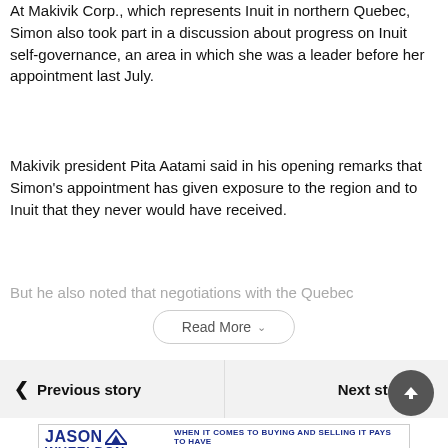At Makivik Corp., which represents Inuit in northern Quebec, Simon also took part in a discussion about progress on Inuit self-governance, an area in which she was a leader before her appointment last July.
Makivik president Pita Aatami said in his opening remarks that Simon's appointment has given exposure to the region and to Inuit that they never would have received.
But he also noted that negotiations with the Quebec
Read More
Previous story
Next story
[Figure (infographic): Jason Wheeldon real estate advertisement: 'When it comes to buying and selling it pays to have THE RIGHT REALTORS ON YOUR SIDE.']